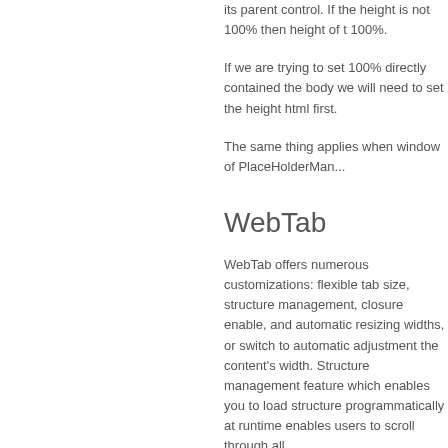its parent control. If the height is not 100% then height of the 100%.
If we are trying to set 100% directly contained the body we will need to set the height html first.
The same thing applies when window of PlaceHolderMan...
WebTab
WebTab offers numerous customizations: flexible tab size, structure management, closure enable, and automatic resizing widths, or switch to automatic adjustment the content's width. Structure management feature which enables you to load structure programmatically at runtime enables users to scroll through all...